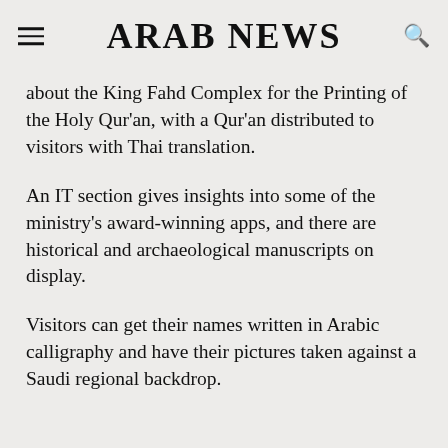ARAB NEWS
about the King Fahd Complex for the Printing of the Holy Qur'an, with a Qur'an distributed to visitors with Thai translation.
An IT section gives insights into some of the ministry's award-winning apps, and there are historical and archaeological manuscripts on display.
Visitors can get their names written in Arabic calligraphy and have their pictures taken against a Saudi regional backdrop.